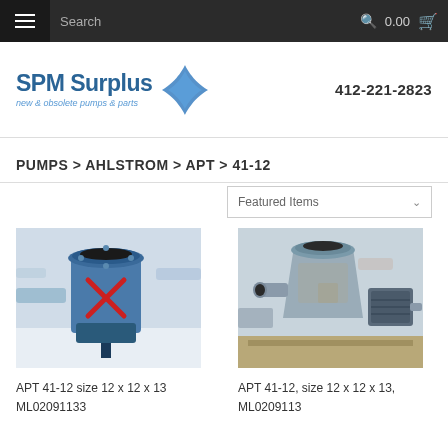Search | 0.00 cart
[Figure (logo): SPM Surplus logo with blue star shape and tagline 'new & obsolete pumps & parts', phone 412-221-2823]
PUMPS > AHLSTROM > APT > 41-12
[Figure (photo): APT 41-12 size 12 x 12 x 13 industrial pump ML02091133, blue pump in outdoor yard with red X mark]
[Figure (photo): APT 41-12, size 12 x 12 x 13, ML0209113, grey industrial pump with motor in outdoor yard]
APT 41-12 size 12 x 12 x 13 ML02091133
APT 41-12, size 12 x 12 x 13, ML0209113